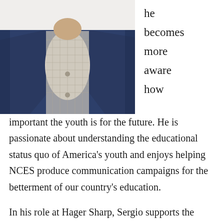[Figure (photo): Photo of a man in a navy blue blazer and plaid shirt, torso and lower face visible, white background]
he becomes more aware how important the youth is for the future. He is passionate about understanding the educational status quo of America's youth and enjoys helping NCES produce communication campaigns for the betterment of our country's education.
In his role at Hager Sharp, Sergio supports the National Center for Education Statistics (NCES) in assessment operations for the U.S. Department of Education, National Assessment of Educational